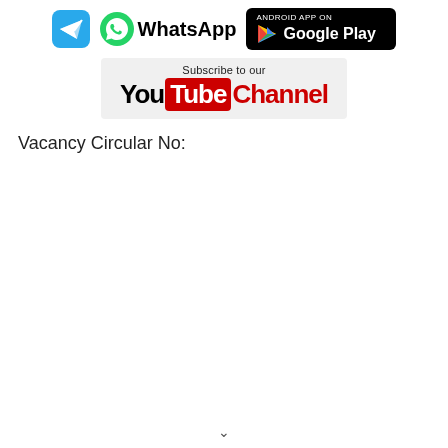[Figure (logo): Telegram logo icon (blue square with white paper plane), WhatsApp icon (green circle with phone), WhatsApp text, and Google Play store badge (black rounded rectangle with Play triangle logo and 'ANDROID APP ON Google Play' text)]
[Figure (logo): YouTube subscribe banner: 'Subscribe to our' text above YouTube logo with red 'Tube' box and red 'Channel' text, on light grey background]
Vacancy Circular No: